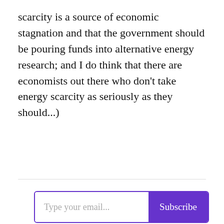scarcity is a source of economic stagnation and that the government should be pouring funds into alternative energy research; and I do think that there are economists out there who don't take energy scarcity as seriously as they should...)
Type your email...
Subscribe
Share
Like
Comment
Share